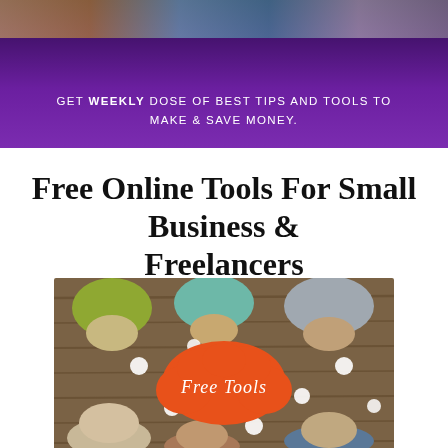GET WEEKLY DOSE OF BEST TIPS AND TOOLS TO MAKE & SAVE MONEY.
Free Online Tools For Small Business & Freelancers
[Figure (photo): Overhead view of people sitting around a wooden table with heads down, with an orange cloud-shaped sign in the center reading 'Free Tools' in script lettering, surrounded by white circular dots on the table.]